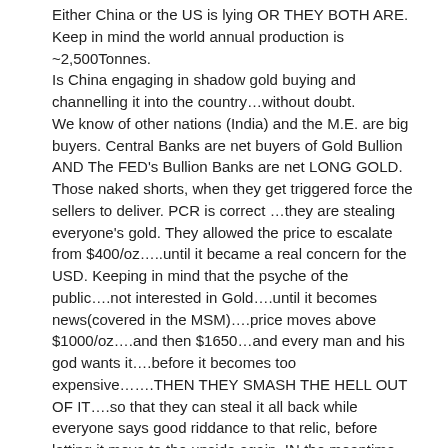Either China or the US is lying OR THEY BOTH ARE. Keep in mind the world annual production is ~2,500Tonnes. Is China engaging in shadow gold buying and channelling it into the country…without doubt. We know of other nations (India) and the M.E. are big buyers. Central Banks are net buyers of Gold Bullion AND The FED's Bullion Banks are net LONG GOLD. Those naked shorts, when they get triggered force the sellers to deliver. PCR is correct …they are stealing everyone's gold. They allowed the price to escalate from $400/oz…..until it became a real concern for the USD. Keeping in mind that the psyche of the public….not interested in Gold….until it becomes news(covered in the MSM)….price moves above $1000/oz….and then $1650…and every man and his god wants it….before it becomes too expensive…….THEN THEY SMASH THE HELL OUT OF IT….so that they can steal it all back while everyone says good riddance to that relic, before letting it move to the upside again. IN the meantime has anyone actually counted the profits they (Bullion Banks) have made on the downside. How smart are they…..now being NET LONG (physical) while pushing all the risk over to the HF's/Money Managers who now face the WRATH of a devastating short squeeze. Some very